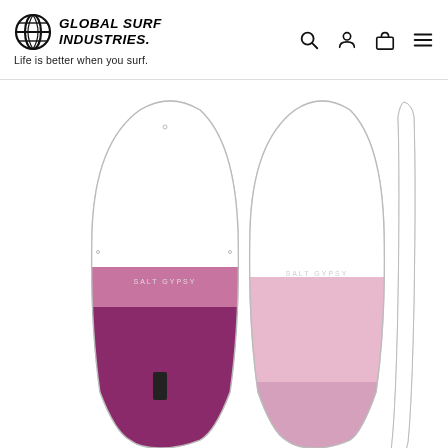Global Surf Industries. Life is better when you surf.
[Figure (photo): Three views of a Stand-Up Paddleboard (SUP) branded 'Salt Gypsy': top/deck view showing white upper half and purple/pink lower half with a fin box; bottom/hull view showing white upper half and light pink lower half; and a side profile view showing the thin white rail. All boards are shown against a white background.]